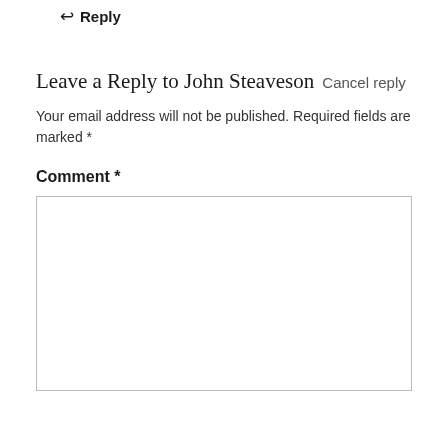↩ Reply
Leave a Reply to John Steaveson Cancel reply
Your email address will not be published. Required fields are marked *
Comment *